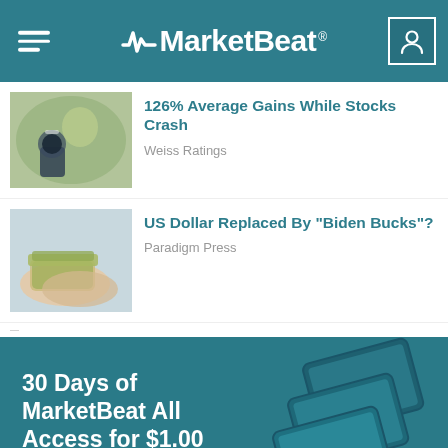MarketBeat
126% Average Gains While Stocks Crash
Weiss Ratings
US Dollar Replaced By "Biden Bucks"?
Paradigm Press
[Figure (illustration): Promotional banner: 30 Days of MarketBeat All Access for $1.00 with device mockups on the right]